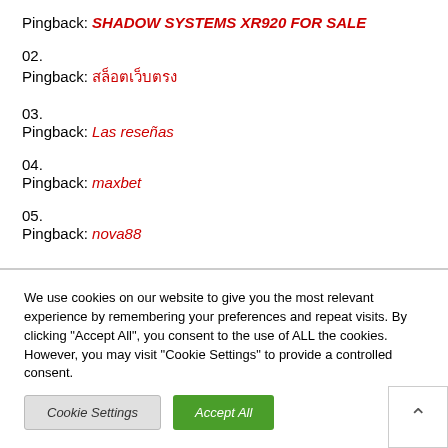01. Pingback: SHADOW SYSTEMS XR920 FOR SALE
02. Pingback: สล็อตเว็บตรง
03. Pingback: Las reseñas
04. Pingback: maxbet
05. Pingback: nova88
We use cookies on our website to give you the most relevant experience by remembering your preferences and repeat visits. By clicking "Accept All", you consent to the use of ALL the cookies. However, you may visit "Cookie Settings" to provide a controlled consent.